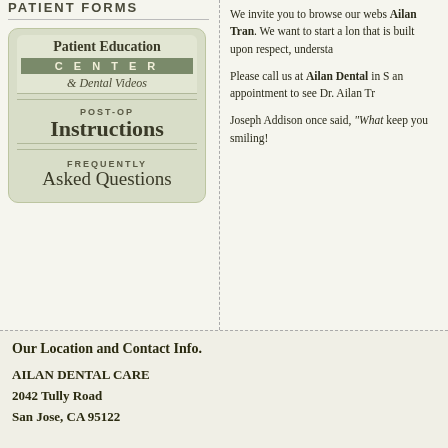PATIENT FORMS
[Figure (illustration): Patient Education Center & Dental Videos box with POST-OP Instructions and Frequently Asked Questions links]
We invite you to browse our webs... Ailan Tran. We want to start a long... that is built upon respect, understa...
Please call us at Ailan Dental in S... an appointment to see Dr. Ailan Tr...
Joseph Addison once said, "What... keep you smiling!
Our Location and Contact Info.
AILAN DENTAL CARE
2042 Tully Road
San Jose, CA 95122